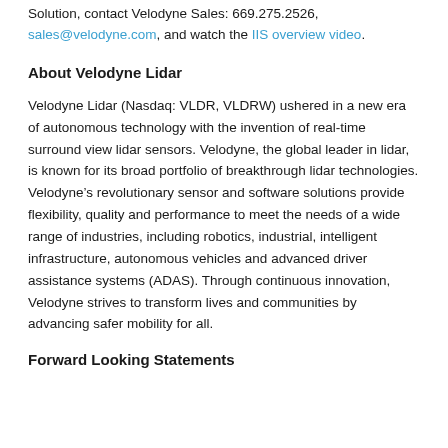Solution, contact Velodyne Sales: 669.275.2526, sales@velodyne.com, and watch the IIS overview video.
About Velodyne Lidar
Velodyne Lidar (Nasdaq: VLDR, VLDRW) ushered in a new era of autonomous technology with the invention of real-time surround view lidar sensors. Velodyne, the global leader in lidar, is known for its broad portfolio of breakthrough lidar technologies. Velodyne’s revolutionary sensor and software solutions provide flexibility, quality and performance to meet the needs of a wide range of industries, including robotics, industrial, intelligent infrastructure, autonomous vehicles and advanced driver assistance systems (ADAS). Through continuous innovation, Velodyne strives to transform lives and communities by advancing safer mobility for all.
Forward Looking Statements